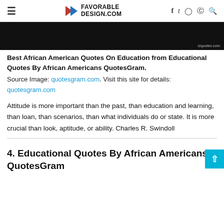≡  FAVORABLE DESIGN.COM  f   twitter  instagram  pinterest  search
[Figure (photo): Dark/black banner image with text 'izquotes.com' in bottom right corner]
Best African American Quotes On Education from Educational Quotes By African Americans QuotesGram. Source Image: quotesgram.com. Visit this site for details: quotesgram.com
Attitude is more important than the past, than education and learning, than loan, than scenarios, than what individuals do or state. It is more crucial than look, aptitude, or ability. Charles R. Swindoll
4. Educational Quotes By African Americans QuotesGram